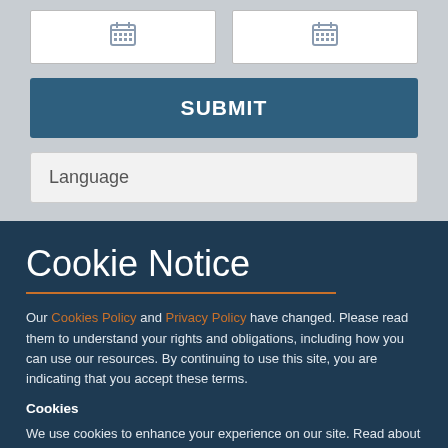[Figure (screenshot): Two date input fields with calendar icons, side by side on a grey background]
SUBMIT
Language
Cookie Notice
Our Cookies Policy and Privacy Policy have changed. Please read them to understand your rights and obligations, including how you can use our resources. By continuing to use this site, you are indicating that you accept these terms.
Cookies
We use cookies to enhance your experience on our site. Read about how we use cookies and how you can control them here. By continuing to use this site, without changing your settings, you are indicating that you accept this policy.
ACCEPT ALL COOKIES
SET PREFERENCES